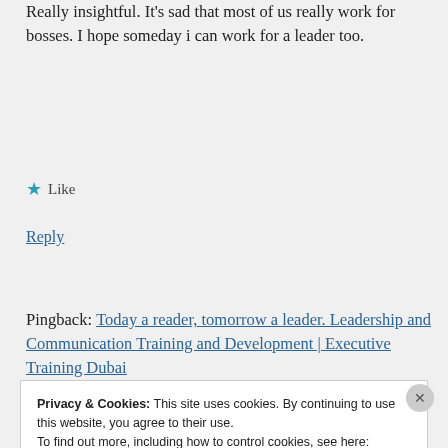Really insightful. It's sad that most of us really work for bosses. I hope someday i can work for a leader too.
★ Like
Reply
Pingback: Today a reader, tomorrow a leader. Leadership and Communication Training and Development | Executive Training Dubai
Privacy & Cookies: This site uses cookies. By continuing to use this website, you agree to their use. To find out more, including how to control cookies, see here: Cookie Policy
Close and accept